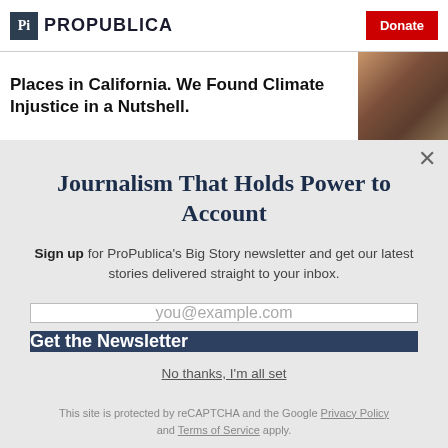ProPublica — Donate
Places in California. We Found Climate Injustice in a Nutshell.
Journalism That Holds Power to Account
Sign up for ProPublica's Big Story newsletter and get our latest stories delivered straight to your inbox.
you@example.com
Get the Newsletter
No thanks, I'm all set
This site is protected by reCAPTCHA and the Google Privacy Policy and Terms of Service apply.